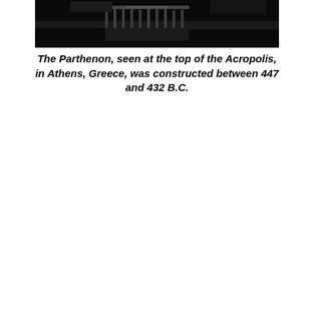[Figure (photo): Black and white photograph of the Parthenon seen at the top of the Acropolis in Athens, Greece. The image shows the ancient structure against a dark sky with trees in the foreground.]
The Parthenon, seen at the top of the Acropolis, in Athens, Greece, was constructed between 447 and 432 B.C.